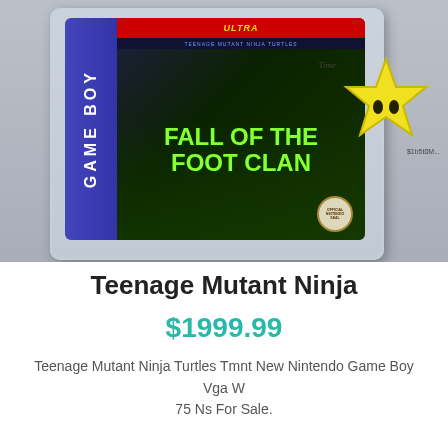[Figure (photo): Product photo of a Game Boy cartridge 'Teenage Mutant Ninja Turtles: Fall of the Foot Clan' in a VGA protective case, with a yellow star badge visible on the right side]
Teenage Mutant Ninja
$1999.99
Teenage Mutant Ninja Turtles Tmnt New Nintendo Game Boy Vga W 75 Ns For Sale.